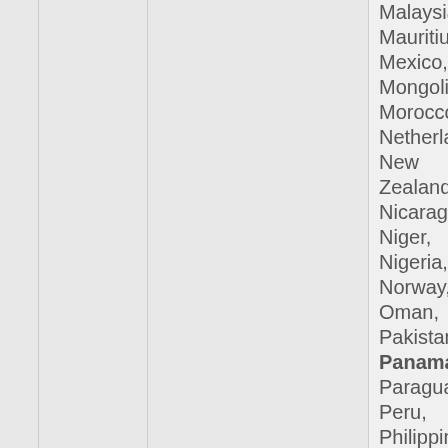Malaysia, Mauritius, Mexico, Mongolia, Morocco, Netherlands, New Zealand, Nicaragua, Niger, Nigeria, Norway, Oman, Pakistan, Panama, Paraguay, Peru, Philippines, Poland, Portugal, Qatar, Republic of Korea, Romania, Russian Federation, Rwanda, Saudi Arabia, Senegal, Sierra Leone, Singapore, Slovakia, Slovenia, South